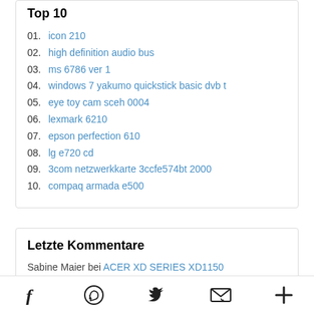Top 10
01. icon 210
02. high definition audio bus
03. ms 6786 ver 1
04. windows 7 yakumo quickstick basic dvb t
05. eye toy cam sceh 0004
06. lexmark 6210
07. epson perfection 610
08. lg e720 cd
09. 3com netzwerkkarte 3ccfe574bt 2000
10. compaq armada e500
Letzte Kommentare
Sabine Maier bei ACER XD SERIES XD1150
21:32, 11.07.18
Anonymous bei SONY MINIDV HANDYCAM® CAMCORDERS
Social icons: Facebook, WhatsApp, Twitter, Email, Plus